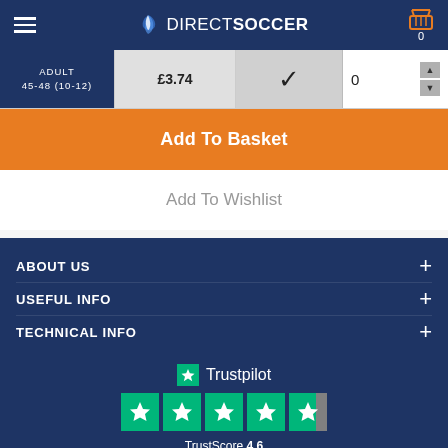DIRECTSOCCER
| Size | Price | In Stock | Qty |
| --- | --- | --- | --- |
| ADULT 45-48 (10-12) | £3.74 | ✓ | 0 |
Add To Basket
Add To Wishlist
ABOUT US
USEFUL INFO
TECHNICAL INFO
[Figure (logo): Trustpilot logo with 4.6 star rating and 13,327 reviews]
TrustScore 4.6
13,327 reviews